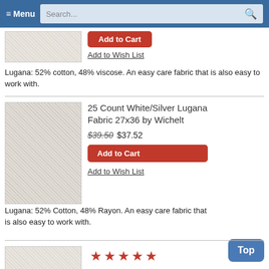≡ Menu  Search...
[Figure (photo): Fabric swatch image top]
Add to Cart
Add to Wish List
Lugana: 52% cotton, 48% viscose. An easy care fabric that is also easy to work with.
[Figure (photo): 25 Count White/Silver Lugana Fabric 27x36 by Wichelt product image]
25 Count White/Silver Lugana Fabric 27x36 by Wichelt
$39.50 $37.52
Add to Cart
Add to Wish List
Lugana: 52% Cotton, 48% Rayon. An easy care fabric that is also easy to work with.
[Figure (photo): Fabric swatch bottom, with 5 red star rating]
Top